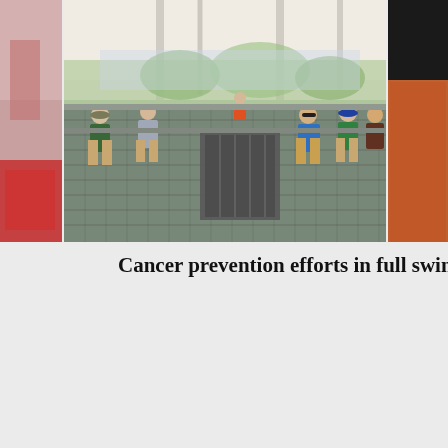[Figure (photo): Outdoor sports venue with spectators sitting along metal railings and bleachers under a covered canopy; trees visible in background; colorful partial photos on left and right edges]
Cancer prevention efforts in full swing